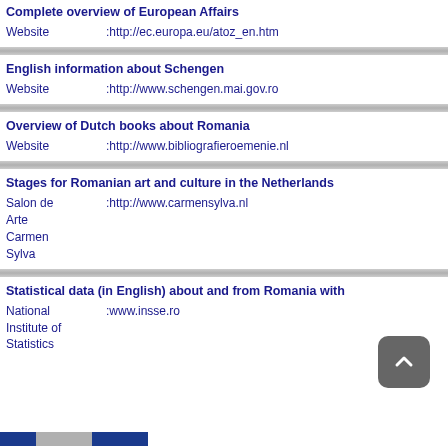Complete overview of European Affairs
Website     :http://ec.europa.eu/atoz_en.htm
English information about Schengen
Website     :http://www.schengen.mai.gov.ro
Overview of Dutch books about Romania
Website     :http://www.bibliografieroemenie.nl
Stages for Romanian art and culture in the Netherlands
Salon de Arte Carmen Sylva     :http://www.carmensylva.nl
Statistical data (in English) about and from Romania with
National Institute of Statistics     :www.insse.ro